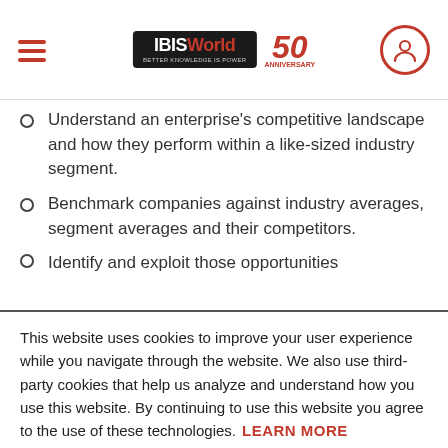IBISWorld 50th Anniversary
Understand an enterprise's competitive landscape and how they perform within a like-sized industry segment.
Benchmark companies against industry averages, segment averages and their competitors.
(partially visible third bullet)
This website uses cookies to improve your user experience while you navigate through the website. We also use third-party cookies that help us analyze and understand how you use this website. By continuing to use this website you agree to the use of these technologies.
LEARN MORE
ACCEPT